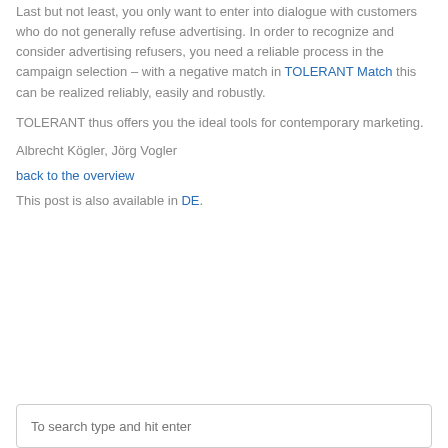Last but not least, you only want to enter into dialogue with customers who do not generally refuse advertising. In order to recognize and consider advertising refusers, you need a reliable process in the campaign selection – with a negative match in TOLERANT Match this can be realized reliably, easily and robustly.
TOLERANT thus offers you the ideal tools for contemporary marketing.
Albrecht Kögler, Jörg Vogler
back to the overview
This post is also available in DE.